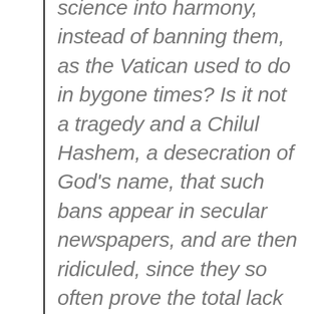science into harmony, instead of banning them, as the Vatican used to do in bygone times? Is it not a tragedy and a Chilul Hashem, a desecration of God's name, that such bans appear in secular newspapers, and are then ridiculed, since they so often prove the total lack of scientific knowledge on the part of those who sign the bans? Would it not be better that some of the greatest